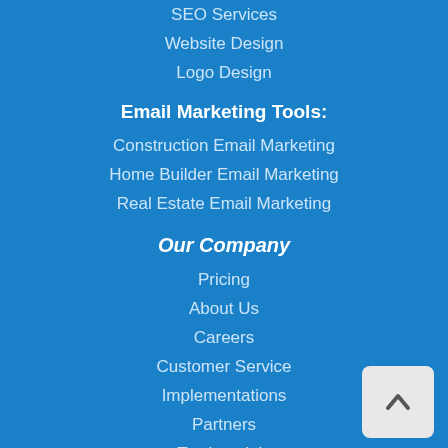SEO Services
Website Design
Logo Design
Email Marketing Tools:
Construction Email Marketing
Home Builder Email Marketing
Real Estate Email Marketing
Our Company
Pricing
About Us
Careers
Customer Service
Implementations
Partners
Testimonials
Webinars